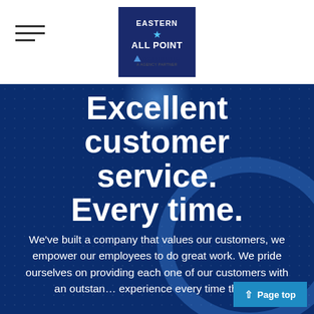[Figure (logo): Eastern All Point insurance logo with Acrisure branding, dark blue background with white text]
Excellent customer service. Every time.
We've built a company that values our customers, we empower our employees to do great work. We pride ourselves on providing each one of our customers with an outstanding experience every time the...